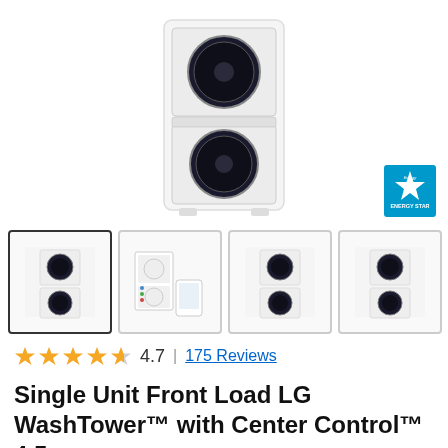[Figure (photo): Main product photo of LG WashTower, a white front-load washing machine/dryer unit with dark circular door, shown against white background]
[Figure (logo): Energy Star certification badge - blue square with star logo and 'ENERGY STAR' text]
[Figure (photo): Four product thumbnail images: first selected thumbnail showing front view of LG WashTower unit; second showing product box/packaging with app; third showing front view; fourth showing front view. Navigation arrow on right.]
4.7 | 175 Reviews
Single Unit Front Load LG WashTower™ with Center Control™ 4.5 cu